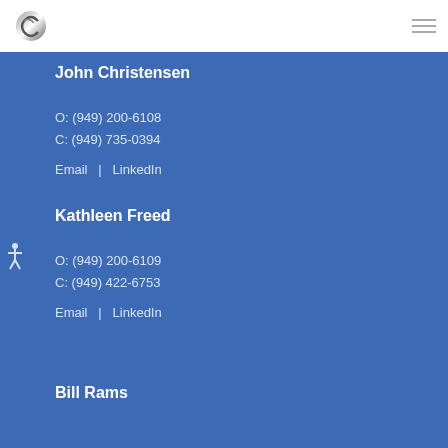John Christensen
O: (949) 200-6108
C: (949) 735-0394
Email  |  LinkedIn
Kathleen Freed
O: (949) 200-6109
C: (949) 422-6753
Email  |  LinkedIn
Bill Rams